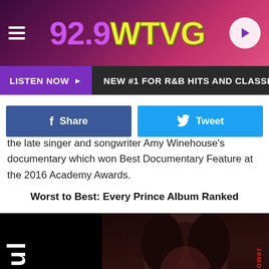92.9 WTVG — LISTEN NOW | NEW #1 FOR R&B HITS AND CLASSICS | TUSCALOOSA
[Figure (screenshot): Facebook Share button (blue) and Twitter Tweet button (light blue)]
the late singer and songwriter Amy Winehouse's documentary which won Best Documentary Feature at the 2016 Academy Awards.
Worst to Best: Every Prince Album Ranked
[Figure (photo): Prince album cover showing Prince holding a microphone with 'Soul' and 'New Power' text visible, dark background]